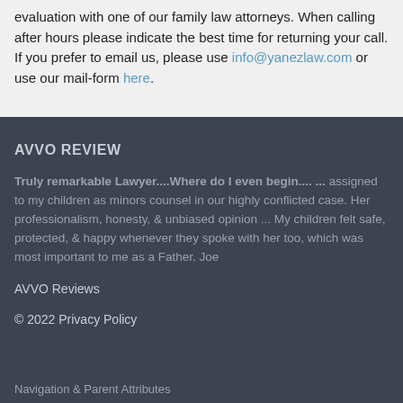evaluation with one of our family law attorneys. When calling after hours please indicate the best time for returning your call. If you prefer to email us, please use info@yanezlaw.com or use our mail-form here.
AVVO REVIEW
Truly remarkable Lawyer....Where do I even begin.... ... assigned to my children as minors counsel in our highly conflicted case. Her professionalism, honesty, & unbiased opinion ... My children felt safe, protected, & happy whenever they spoke with her too, which was most important to me as a Father. Joe
AVVO Reviews
© 2022 Privacy Policy
Navigation & Parent Attributes